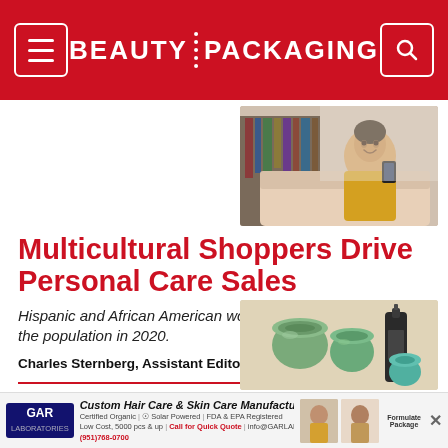BEAUTY PACKAGING
[Figure (photo): Young woman smiling while looking at her phone, sitting on a couch, wearing a yellow/orange sweater]
Multicultural Shoppers Drive Personal Care Sales
Hispanic and African American women outspent the rest of the population in 2020.
Charles Sternberg, Assistant Editor • 05.10.21
COSMETICS
[Figure (photo): Personal care / cosmetics products including green containers and a dark bottle on a light background]
GAR LABORATORIES — Custom Hair Care & Skin Care Manufacturer. Certified Organic | Solar Powered | FDA & EPA Registered. Low Cost, 5000 pcs & up | Call for Quick Quote | info@GARLABS.com. Formulate Package. (951)768-0700